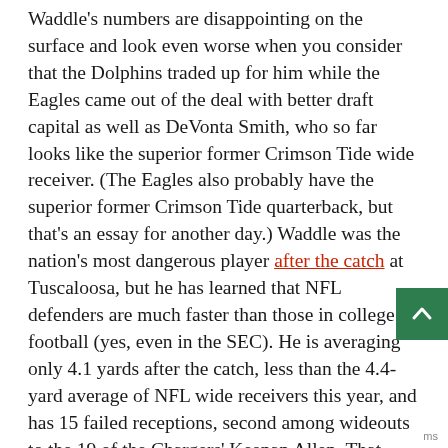Waddle's numbers are disappointing on the surface and look even worse when you consider that the Dolphins traded up for him while the Eagles came out of the deal with better draft capital as well as DeVonta Smith, who so far looks like the superior former Crimson Tide wide receiver. (The Eagles also probably have the superior former Crimson Tide quarterback, but that's an essay for another day.) Waddle was the nation's most dangerous player after the catch at Tuscaloosa, but he has learned that NFL defenders are much faster than those in college football (yes, even in the SEC). He is averaging only 4.1 yards after the catch, less than the 4.4-yard average of NFL wide receivers this year, and has 15 failed receptions, second among wideouts to the 19 of the Chargers' Keenan Allen. That includes this play against the Raiders, which is about as big a failure of a failed reception you'll ever see: